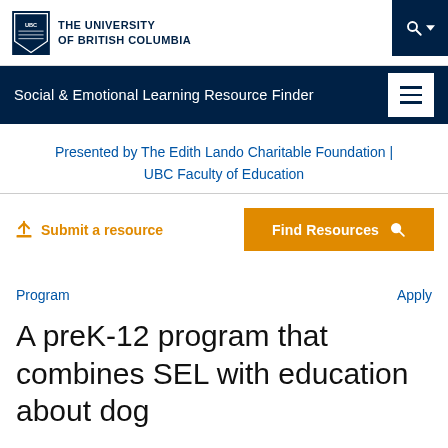THE UNIVERSITY OF BRITISH COLUMBIA
Social & Emotional Learning Resource Finder
Presented by The Edith Lando Charitable Foundation | UBC Faculty of Education
Submit a resource
Find Resources
Program
Apply
A preK-12 program that combines SEL with education about dog